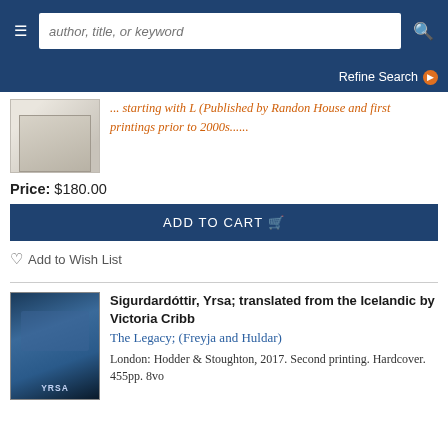author, title, or keyword (search bar)
Refine Search
... starting with L (Published by Random House and first printings prior to 2000s......
Price: $180.00
ADD TO CART
Add to Wish List
Sigurdardóttir, Yrsa; translated from the Icelandic by Victoria Cribb
The Legacy; (Freyja and Huldar)
London: Hodder & Stoughton, 2017. Second printing. Hardcover. 455pp. 8vo